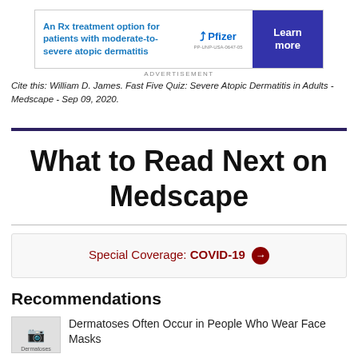[Figure (other): Pfizer advertisement banner for an Rx treatment option for patients with moderate-to-severe atopic dermatitis with a 'Learn more' button]
ADVERTISEMENT
Cite this: William D. James. Fast Five Quiz: Severe Atopic Dermatitis in Adults - Medscape - Sep 09, 2020.
What to Read Next on Medscape
Special Coverage: COVID-19 →
Recommendations
Dermatoses Often Occur in People Who Wear Face Masks